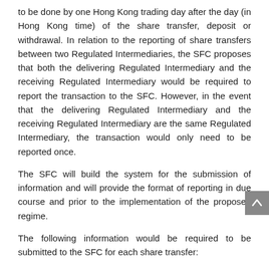to be done by one Hong Kong trading day after the day (in Hong Kong time) of the share transfer, deposit or withdrawal. In relation to the reporting of share transfers between two Regulated Intermediaries, the SFC proposes that both the delivering Regulated Intermediary and the receiving Regulated Intermediary would be required to report the transaction to the SFC. However, in the event that the delivering Regulated Intermediary and the receiving Regulated Intermediary are the same Regulated Intermediary, the transaction would only need to be reported once.
The SFC will build the system for the submission of information and will provide the format of reporting in due course and prior to the implementation of the proposed regime.
The following information would be required to be submitted to the SFC for each share transfer:
stock name and code of the shares transferred;